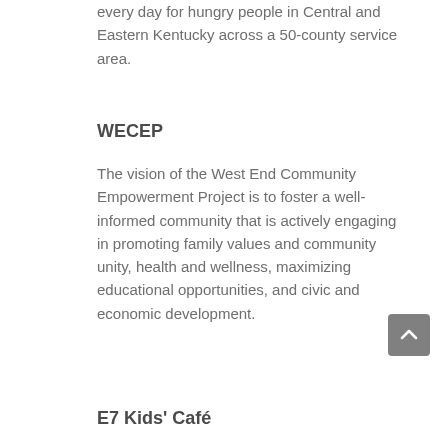every day for hungry people in Central and Eastern Kentucky across a 50-county service area.
WECEP
The vision of the West End Community Empowerment Project is to foster a well-informed community that is actively engaging in promoting family values and community unity, health and wellness, maximizing educational opportunities, and civic and economic development.
E7 Kids' Café